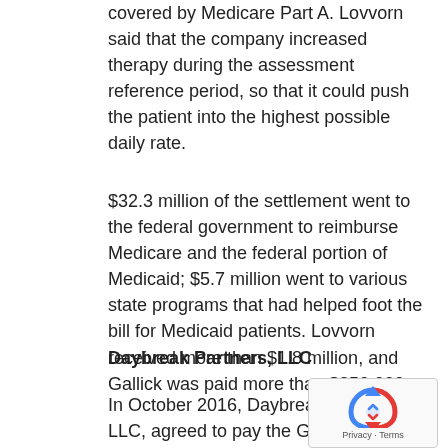covered by Medicare Part A. Lovvorn said that the company increased therapy during the assessment reference period, so that it could push the patient into the highest possible daily rate.
$32.3 million of the settlement went to the federal government to reimburse Medicare and the federal portion of Medicaid; $5.7 million went to various state programs that had helped foot the bill for Medicaid patients. Lovvorn received more than $1.8 million, and Gallick was paid more than $250,000.
Daybreak Partners, LLC
In October 2016, Daybreak Partners, LLC, agreed to pay the Government $5.3